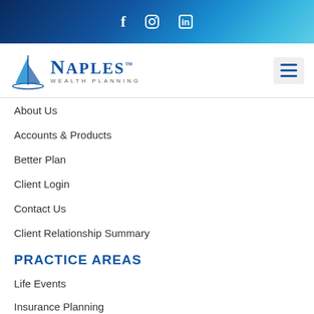f  ○  in
[Figure (logo): Naples Wealth Planning logo with sailboat icon]
About Us
Accounts & Products
Better Plan
Client Login
Contact Us
Client Relationship Summary
PRACTICE AREAS
Life Events
Insurance Planning